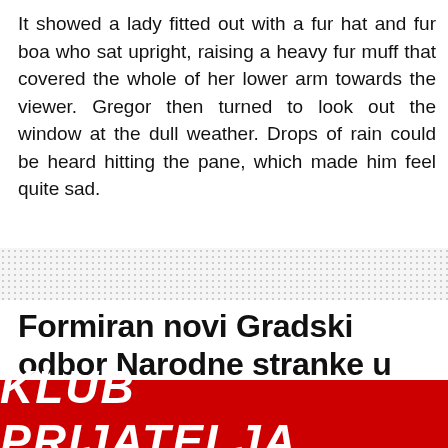It showed a lady fitted out with a fur hat and fur boa who sat upright, raising a heavy fur muff that covered the whole of her lower arm towards the viewer. Gregor then turned to look out the window at the dull weather. Drops of rain could be heard hitting the pane, which made him feel quite sad.
Formiran novi Gradski odbor Narodne stranke u Šapcu
[Figure (other): Red banner with bold italic white text reading KLUB PRIJATELJA]